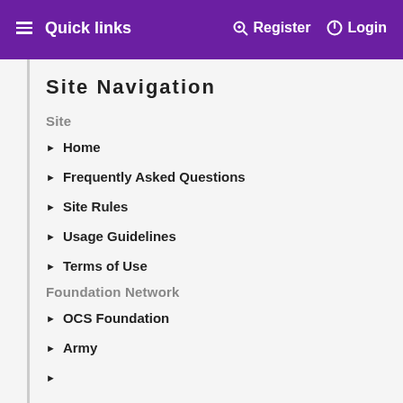≡ Quick links   🔍 Register   ⏻ Login
Site Navigation
Site
▶ Home
▶ Frequently Asked Questions
▶ Site Rules
▶ Usage Guidelines
▶ Terms of Use
Foundation Network
▶ OCS Foundation
▶ Army
▶ …